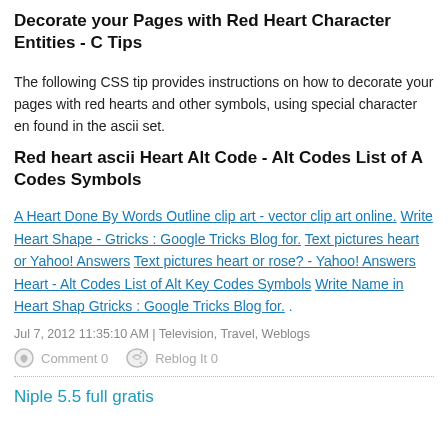Decorate your Pages with Red Heart Character Entities - Tips
The following CSS tip provides instructions on how to decorate your pages with red hearts and other symbols, using special character entities found in the ascii set.
Red heart ascii Heart Alt Code - Alt Codes List of Alt Codes Symbols
A Heart Done By Words Outline clip art - vector clip art online. Write Heart Shape - Gtricks : Google Tricks Blog for. Text pictures heart or Yahoo! Answers Text pictures heart or rose? - Yahoo! Answers Heart - Alt Codes List of Alt Key Codes Symbols Write Name in Heart Shape - Gtricks : Google Tricks Blog for. .
Jul 7, 2012 11:35:10 AM | Television, Travel, Weblogs
Comment 0   Reblog It 0
Niple 5.5 full gratis